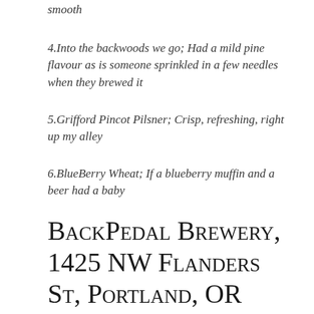smooth
4.Into the backwoods we go; Had a mild pine flavour as is someone sprinkled in a few needles when they brewed it
5.Grifford Pincot Pilsner; Crisp, refreshing, right up my alley
6.BlueBerry Wheat; If a blueberry muffin and a beer had a baby
BackPedal Brewery, 1425 NW Flanders St, Portland, OR